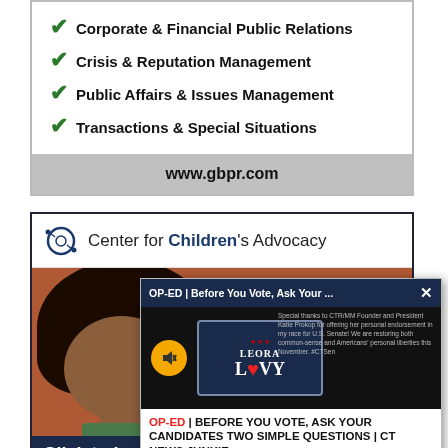✔ Corporate & Financial Public Relations
✔ Crisis & Reputation Management
✔ Public Affairs & Issues Management
✔ Transactions & Special Situations
www.gbpr.com
[Figure (screenshot): Center for Children's Advocacy advertisement showing logo, child photo, and 'Who' text with 'Click to le...' footer]
[Figure (screenshot): Popup overlay: 'OP-ED | Before You Vote, Ask Your ...' with Leora Levy campaign video and text 'OP-ED | BEFORE YOU VOTE, ASK YOUR CANDIDATES TWO SIMPLE QUESTIONS | CT NEWS JUNKIE']